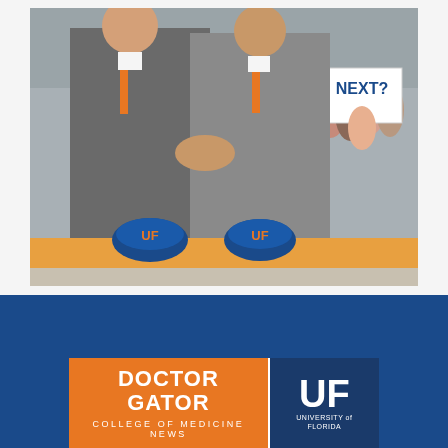[Figure (photo): Two men in suits shaking hands at an outdoor event. Blue UF hard hats on an orange table in front. Crowd of people in background, one holding a sign reading 'NEXT?'. University of Florida setting.]
[Figure (logo): Doctor Gator - College of Medicine News logo. Orange rectangle with white text 'DOCTOR GATOR' and subtitle 'COLLEGE OF MEDICINE NEWS', beside a dark blue rectangle with white 'UF' and 'University of Florida' text.]